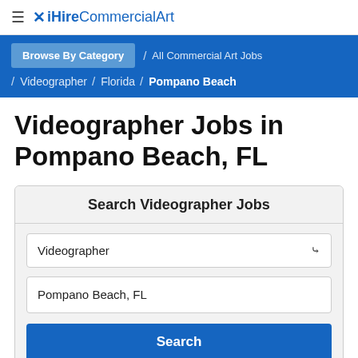≡ ✕ iHireCommercialArt
Browse By Category / All Commercial Art Jobs / Videographer / Florida / Pompano Beach
Videographer Jobs in Pompano Beach, FL
Search Videographer Jobs
Videographer
Pompano Beach, FL
Search